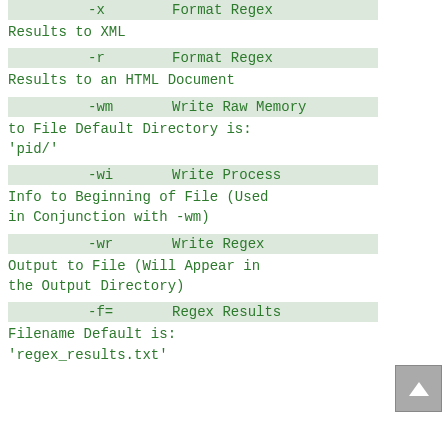-x        Format Regex Results to XML
-r        Format Regex Results to an HTML Document
-wm       Write Raw Memory to File Default Directory is: 'pid/'
-wi       Write Process Info to Beginning of File (Used in Conjunction with -wm)
-wr       Write Regex Output to File (Will Appear in the Output Directory)
-f=       Regex Results Filename Default is: 'regex_results.txt'